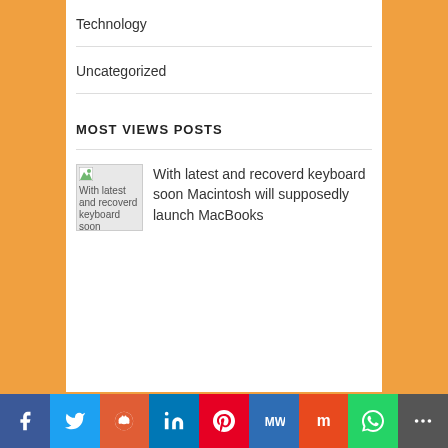Technology
Uncategorized
MOST VIEWS POSTS
With latest and recoverd keyboard soon Macintosh will supposedly launch MacBooks